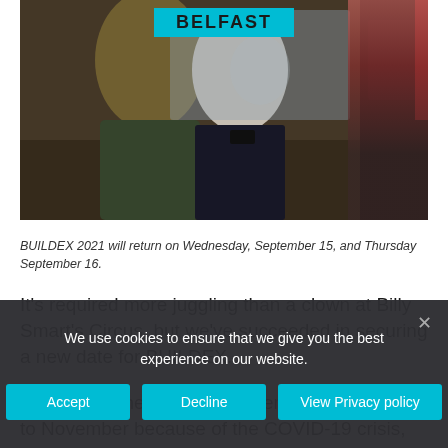[Figure (photo): Indoor event photo showing people standing at what appears to be a trade show or exhibition. A cyan BELFAST label banner overlays the top center of the image.]
BUILDEX 2021 will return on Wednesday, September 15, and Thursday September 16.
It’s required more juggling than a clown at Billy Smart’s Circus, but we’ve succeeded in securing a new date for BUILDEX.
Originally scheduled for September, then moved to November because of the COVID-19 crisis, circumstances
We use cookies to ensure that we give you the best experience on our website.